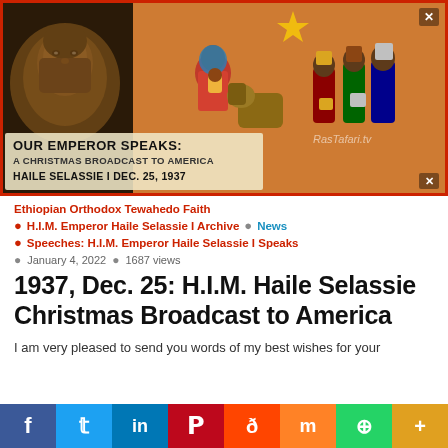[Figure (photo): Composite image of Haile Selassie I portrait on left with Ethiopian Orthodox nativity/Christmas artwork on right, overlaid with text 'OUR EMPEROR SPEAKS: A CHRISTMAS BROADCAST TO AMERICA, HAILE SELASSIE I DEC. 25, 1937' on a semi-transparent banner, and watermark 'RasTafari.tv']
Ethiopian Orthodox Tewahedo Faith
H.I.M. Emperor Haile Selassie I Archive • News
Speeches: H.I.M. Emperor Haile Selassie I Speaks
January 4, 2022 • 1687 views
1937, Dec. 25: H.I.M. Haile Selassie Christmas Broadcast to America
I am very pleased to send you words of my best wishes for your